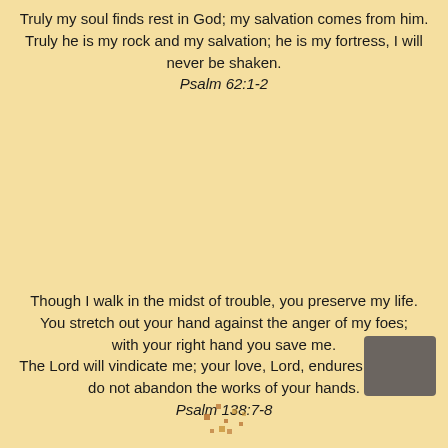Truly my soul finds rest in God; my salvation comes from him. Truly he is my rock and my salvation; he is my fortress, I will never be shaken.
Psalm 62:1-2
Though I walk in the midst of trouble, you preserve my life. You stretch out your hand against the anger of my foes; with your right hand you save me. The Lord will vindicate me; your love, Lord, endures forever—do not abandon the works of your hands.
Psalm 138:7-8